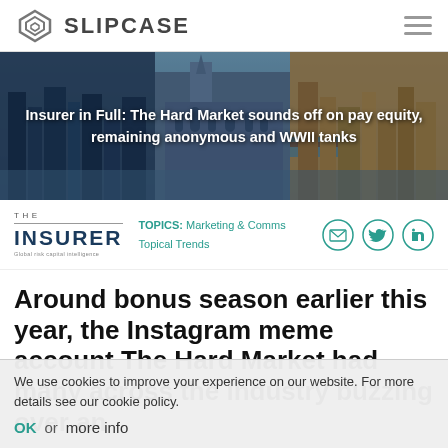SLIPCASE
[Figure (photo): Hero banner image showing aerial city views including London Bridge and cathedral, overlaid with article title text]
Insurer in Full: The Hard Market sounds off on pay equity, remaining anonymous and WWII tanks
[Figure (logo): The Insurer - Global risk capital intelligence logo]
TOPICS: Marketing & Comms Topical Trends
Around bonus season earlier this year, the Instagram meme account The Hard Market had many across the industry buzzing over an
We use cookies to improve your experience on our website. For more details see our cookie policy.
OK  or  more info